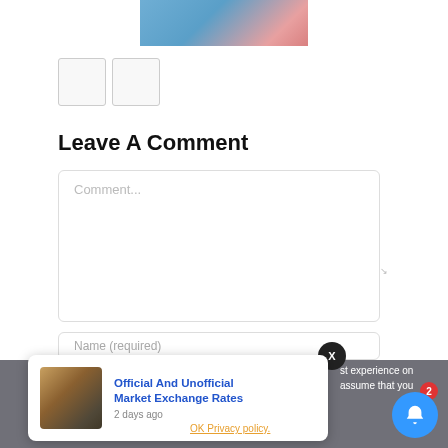[Figure (photo): Partial photo of a person holding a device, cropped at top]
[Figure (other): Two small navigation/thumbnail buttons side by side]
Leave A Comment
[Figure (screenshot): Comment text input box with placeholder text 'Comment...']
[Figure (screenshot): Name (required) input field, partially visible]
[Figure (screenshot): Notification popup showing 'Official And Unofficial Market Exchange Rates' posted 2 days ago, with X close button and bell icon with badge 2]